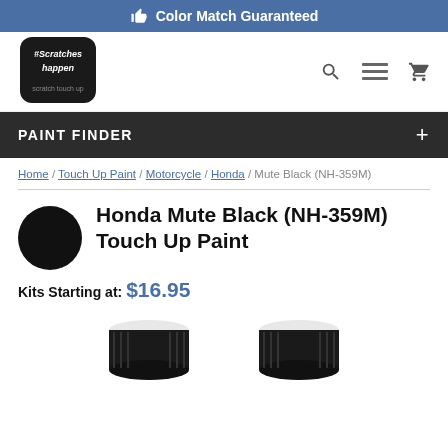Color Match Guaranteed
[Figure (logo): #Scratches Happen logo - black circular sticker style logo with script text]
PAINT FINDER +
Home / Touch Up Paint / Motorcycle / Honda / Mute Black (NH-359M)
Honda Mute Black (NH-359M) Touch Up Paint
Kits Starting at: $16.95
[Figure (photo): Two black paint jar/bottle caps with white labels, shown side by side]